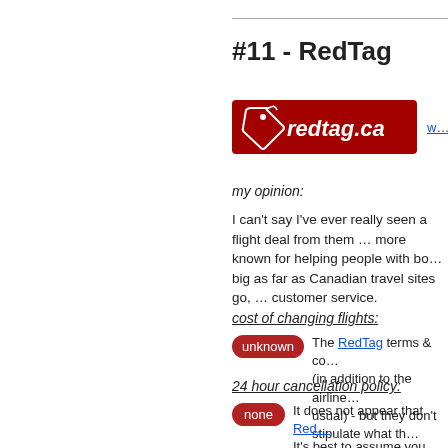#11 - RedTag
[Figure (logo): RedTag.ca logo — white tag icon and red background with 'redtag.ca' in white italic text]
my opinion:
I can't say I've ever really seen a flight deal from them … more known for helping people with booking … big as far as Canadian travel sites go, … customer service.
cost of changing flights:
unknown — The RedTag terms & conditions … (in addition to the airline … usual) - but they don't stipulate what th…
24 hour cancellation policy:
none — It does not appear that Red… It's best to assume you cann… without paying a hefty fee.